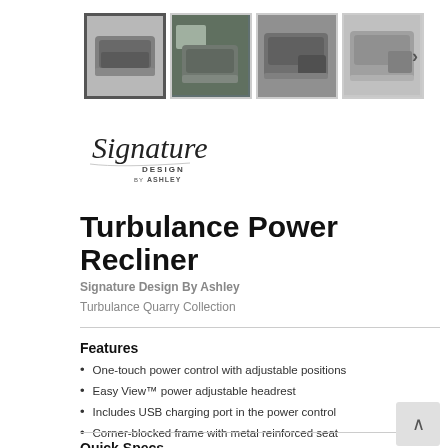[Figure (photo): Four thumbnail images of a dark grey leather power recliner chair from different angles]
[Figure (logo): Signature Design by Ashley logo with cursive Signature text and sans-serif DESIGN BY ASHLEY]
Turbulance Power Recliner
Signature Design By Ashley
Turbulance Quarry Collection
Features
One-touch power control with adjustable positions
Easy View™ power adjustable headrest
Includes USB charging port in the power control
Corner-blocked frame with metal reinforced seat
Quick Specs
Type: Recliners